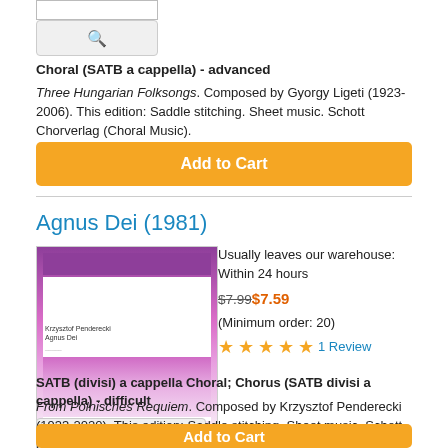[Figure (other): Search box input field (white rectangle with border)]
[Figure (other): Search button with blue magnifying glass icon on light gray background]
Choral (SATB a cappella) - advanced
Three Hungarian Folksongs. Composed by Gyorgy Ligeti (1923-2006). This edition: Saddle stitching. Sheet music. Schott Chorverlag (Choral Music).
Add to Cart
Agnus Dei (1981)
[Figure (photo): Book cover for Agnus Dei with purple/pink gradient design and text 'Krzysztof Penderecki Agnus Dei']
Usually leaves our warehouse: Within 24 hours
$7.99$7.59
(Minimum order: 20)
★★★★★ 1 Review
[Figure (other): Search/zoom button with blue magnifying glass icon]
SATB (divisi) a cappella Choral; Chorus (SATB divisi a cappella) - difficult
From Polnisches Requiem. Composed by Krzysztof Penderecki (1933-2020). This edition: Saddle stitching. Sheet music. Schott Kammerchor Reihe (Choral
Add to Cart